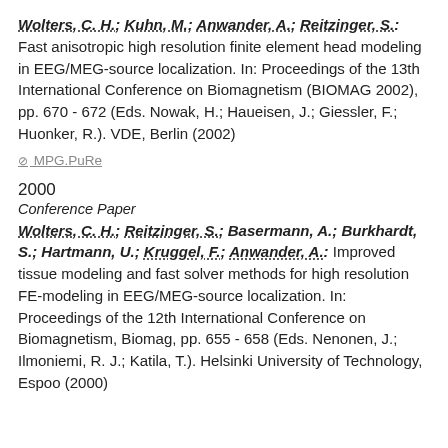Wolters, C. H.; Kuhn, M.; Anwander, A.; Reitzinger, S.: Fast anisotropic high resolution finite element head modeling in EEG/MEG-source localization. In: Proceedings of the 13th International Conference on Biomagnetism (BIOMAG 2002), pp. 670 - 672 (Eds. Nowak, H.; Haueisen, J.; Giessler, F.; Huonker, R.). VDE, Berlin (2002)
MPG.PuRe
2000
Conference Paper
Wolters, C. H.; Reitzinger, S.; Basermann, A.; Burkhardt, S.; Hartmann, U.; Kruggel, F.; Anwander, A.: Improved tissue modeling and fast solver methods for high resolution FE-modeling in EEG/MEG-source localization. In: Proceedings of the 12th International Conference on Biomagnetism, Biomag, pp. 655 - 658 (Eds. Nenonen, J.; Ilmoniemi, R. J.; Katila, T.). Helsinki University of Technology, Espoo (2000)